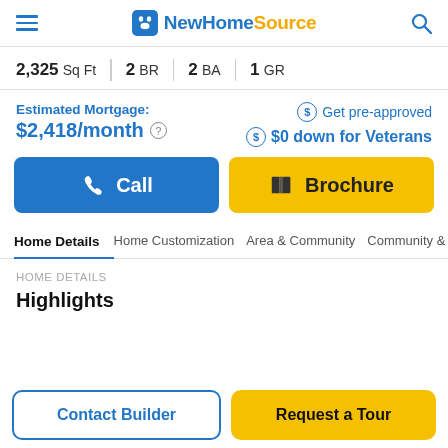NewHomeSource
2,325 Sq Ft | 2 BR | 2 BA | 1 GR
Estimated Mortgage: $2,418/month | Get pre-approved | $0 down for Veterans
Call
Brochure
Home Details | Home Customization | Area & Community | Community &
HOME DETAILS
Highlights
Contact Builder
Request a Tour